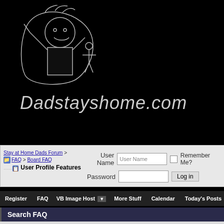[Figure (illustration): Child's hand-drawn illustration on black background showing a figure with raised arms and smaller figures, done in white chalk/pencil style]
Dadstayshome.com
Stay at Home Dads Forum > FAQ > Board FAQ
User Profile Features
User Name [User Name input] [checkbox] Remember Me?
Password [input] [Log in button]
Register   FAQ   VB Image Host ▼   More Stuff   Calendar   Today's Posts
Search FAQ
Search Word(s):   Matching Options: